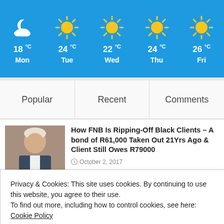[Figure (infographic): Weather widget showing 5-day forecast: Mon 18°C cloudy, Tue 24°C sunny, Wed 22°C sunny, Thu 24°C sunny, Fri 26°C sunny]
Popular | Recent | Comments
How FNB Is Ripping-Off Black Clients – A bond of R61,000 Taken Out 21Yrs Ago & Client Still Owes R79000
October 2, 2017
Johannesburg's Black Magic Circle of
Privacy & Cookies: This site uses cookies. By continuing to use this website, you agree to their use.
To find out more, including how to control cookies, see here: Cookie Policy
Close and accept